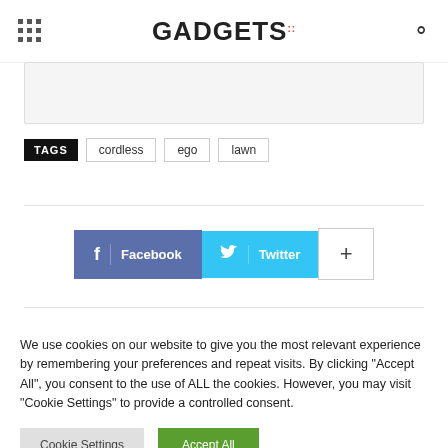GADGETS
TAGS  cordless  ego  lawn
[Figure (other): Social share buttons: Facebook, Twitter, and a plus button]
We use cookies on our website to give you the most relevant experience by remembering your preferences and repeat visits. By clicking "Accept All", you consent to the use of ALL the cookies. However, you may visit "Cookie Settings" to provide a controlled consent.
Cookie Settings   Accept All